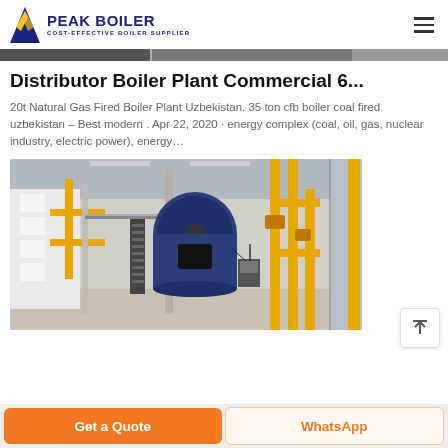PEAK BOILER COST-EFFECTIVE BOILER SUPPLIER
[Figure (photo): Top strip showing partial boiler/industrial machinery image]
Distributor Boiler Plant Commercial 6...
20t Natural Gas Fired Boiler Plant Uzbekistan. 35 ton cfb boiler coal fired uzbekistan – Best modern . Apr 22, 2020 · energy complex (coal, oil, gas, nuclear industry, electric power), energy…
[Figure (photo): Industrial boiler plant facility interior showing large blue cylindrical boiler with yellow gas pipes, stairs, and industrial equipment inside a warehouse building]
Get a Quote
WhatsApp